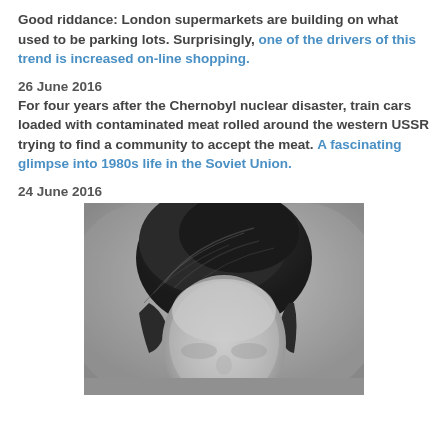Good riddance: London supermarkets are building on what used to be parking lots. Surprisingly, one of the drivers of this trend is increased on-line shopping.
26 June 2016
For four years after the Chernobyl nuclear disaster, train cars loaded with contaminated meat rolled around the western USSR trying to find a community to accept the meat. A fascinating glimpse into 1980s life in the Soviet Union.
24 June 2016
[Figure (photo): Black and white photograph of a person, showing head and upper body. The subject has voluminous, swept-back dark hair and appears to be looking slightly downward.]